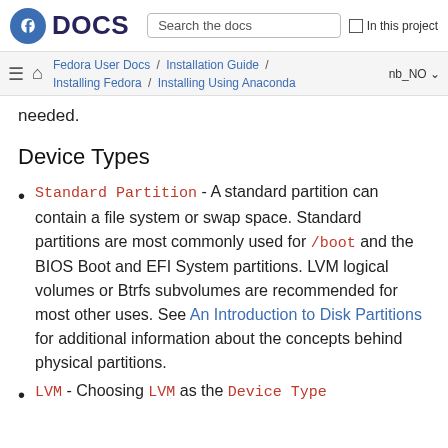Fedora DOCS | Search the docs | In this project
Fedora User Docs / Installation Guide / Installing Fedora / Installing Using Anaconda | nb_NO
needed.
Device Types
Standard Partition - A standard partition can contain a file system or swap space. Standard partitions are most commonly used for /boot and the BIOS Boot and EFI System partitions. LVM logical volumes or Btrfs subvolumes are recommended for most other uses. See An Introduction to Disk Partitions for additional information about the concepts behind physical partitions.
LVM - Choosing LVM as the Device Type